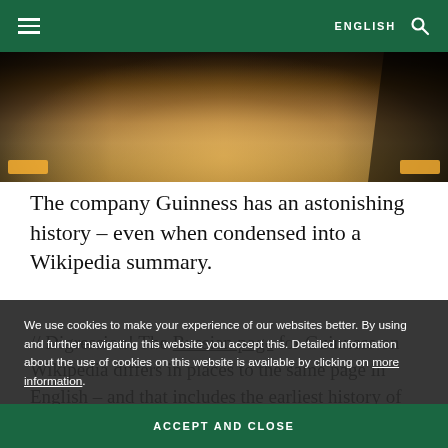ENGLISH
[Figure (photo): Interior corridor photo with warm amber/gold floor lighting and dark architectural elements]
The company Guinness has an astonishing history – even when condensed into a Wikipedia summary.
// Digression! The Russian page for Guinness on Wikipedia differs in places to the same page in English – and that includes the earliest history of the drink. What follows is a translation of part of the introduction section. It changes things of the drink that (at all!) on the English page (and it's one of the most interesting bits!):
We use cookies to make your experience of our websites better. By using and further navigating this website you accept this. Detailed information about the use of cookies on this website is available by clicking on more information.
ACCEPT AND CLOSE
'The creator of Guinness started brewing beer it